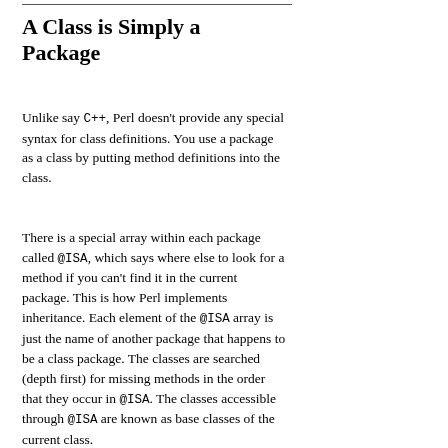A Class is Simply a Package
Unlike say C++, Perl doesn't provide any special syntax for class definitions. You use a package as a class by putting method definitions into the class.
There is a special array within each package called @ISA, which says where else to look for a method if you can't find it in the current package. This is how Perl implements inheritance. Each element of the @ISA array is just the name of another package that happens to be a class package. The classes are searched (depth first) for missing methods in the order that they occur in @ISA. The classes accessible through @ISA are known as base classes of the current class.